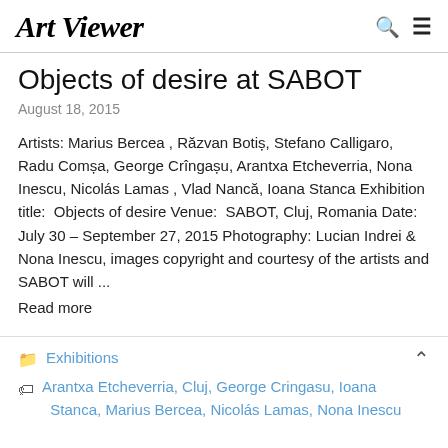Art Viewer
Objects of desire at SABOT
August 18, 2015
Artists: Marius Bercea , Răzvan Botiș, Stefano Calligaro, Radu Comșa, George Crîngașu, Arantxa Etcheverria, Nona Inescu, Nicolás Lamas , Vlad Nancă, Ioana Stanca Exhibition title:  Objects of desire Venue:  SABOT, Cluj, Romania Date:  July 30 – September 27, 2015 Photography: Lucian Indrei & Nona Inescu, images copyright and courtesy of the artists and SABOT will ...
Read more
Exhibitions
Arantxa Etcheverria, Cluj, George Cringasu, Ioana Stanca, Marius Bercea, Nicolás Lamas, Nona Inescu